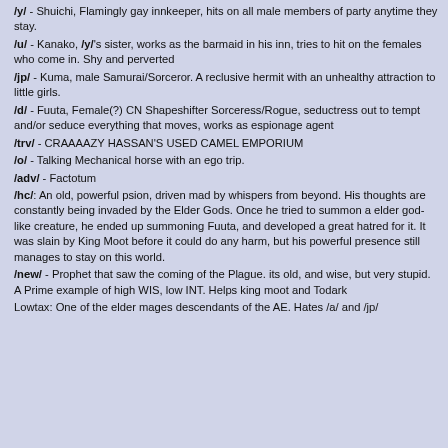/y/ - Shuichi, Flamingly gay innkeeper, hits on all male members of party anytime they stay.
/u/ - Kanako, /y/'s sister, works as the barmaid in his inn, tries to hit on the females who come in. Shy and perverted
/jp/ - Kuma, male Samurai/Sorceror. A reclusive hermit with an unhealthy attraction to little girls.
/d/ - Fuuta, Female(?) CN Shapeshifter Sorceress/Rogue, seductress out to tempt and/or seduce everything that moves, works as espionage agent
/trv/ - CRAAAAZY HASSAN'S USED CAMEL EMPORIUM
/o/ - Talking Mechanical horse with an ego trip.
/adv/ - Factotum
/hc/: An old, powerful psion, driven mad by whispers from beyond. His thoughts are constantly being invaded by the Elder Gods. Once he tried to summon a elder god-like creature, he ended up summoning Fuuta, and developed a great hatred for it. It was slain by King Moot before it could do any harm, but his powerful presence still manages to stay on this world.
/new/ - Prophet that saw the coming of the Plague. its old, and wise, but very stupid. A Prime example of high WIS, low INT. Helps king moot and Todark
Lowtax: One of the elder mages descendants of the AE. Hates /a/ and /jp/